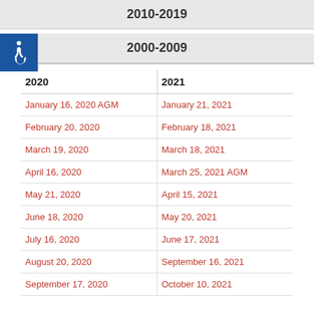2010-2019
2000-2009
| 2020 | 2021 |
| --- | --- |
| January 16, 2020 AGM | January 21, 2021 |
| February 20, 2020 | February 18, 2021 |
| March 19, 2020 | March 18, 2021 |
| April 16, 2020 | March 25, 2021 AGM |
| May 21, 2020 | April 15, 2021 |
| June 18, 2020 | May 20, 2021 |
| July 16, 2020 | June 17, 2021 |
| August 20, 2020 | September 16, 2021 |
| September 17, 2020 | October 10, 2021 |